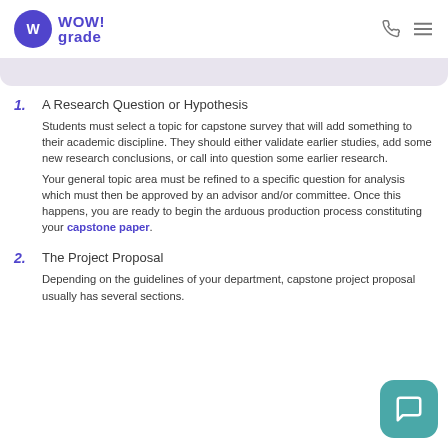WOW! grade
1. A Research Question or Hypothesis — Students must select a topic for capstone survey that will add something to their academic discipline. They should either validate earlier studies, add some new research conclusions, or call into question some earlier research. Your general topic area must be refined to a specific question for analysis which must then be approved by an advisor and/or committee. Once this happens, you are ready to begin the arduous production process constituting your capstone paper.
2. The Project Proposal — Depending on the guidelines of your department, capstone project proposal usually has several sections.